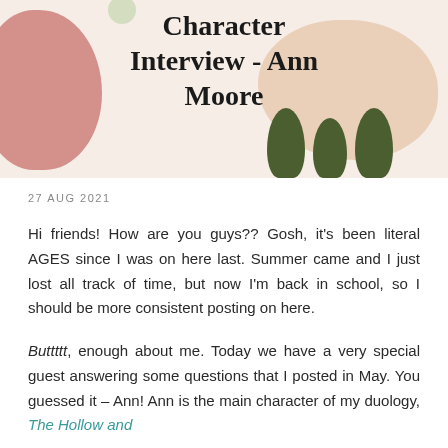[Figure (illustration): Decorative blog post header image with beige background, pink blob on the left, beige blob on the right, and dark green leaf shapes at the bottom right. Center text reads 'Character Interview - Ann Moore' in bold serif font.]
Character Interview - Ann Moore
27 AUG 2021
Hi friends! How are you guys?? Gosh, it's been literal AGES since I was on here last. Summer came and I just lost all track of time, but now I'm back in school, so I should be more consistent posting on here.
Buttttt, enough about me. Today we have a very special guest answering some questions that I posted in May. You guessed it – Ann! Ann is the main character of my duology, The Hollow and